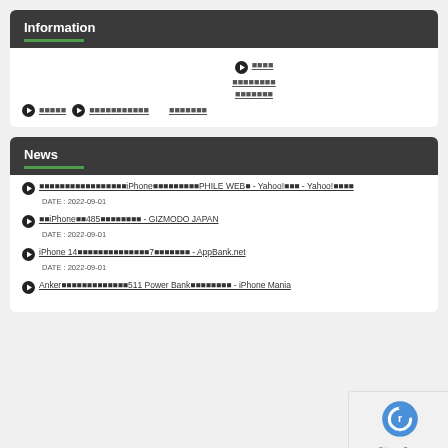Information
■■■■
■■■■■■■■
■■■■■■■
■■■■■ ■■■■■■■■■■■ ■■■■■■■
News
■■■■■■■■■■■■■■■■■iPhone■■■■■■■■■PHILE WEB■ - Yahoo!■■■ - Yahoo!■■■■
DATE : 2022-09-01
■■iPhone■■485■■■■■■■■ - GIZMODO JAPAN
DATE : 2022-09-01
iPhone 14■■■■■■■■■■■■■■7■■■■■■■ - AppBank.net
DATE : 2022-09-01
Anker■■■■■■■■■■■■■511 Power Bank■■■■■■■■ - iPhone Mania
[Figure (logo): reCAPTCHA privacy badge with blue circular arrow logo and Privacy - Terms text]